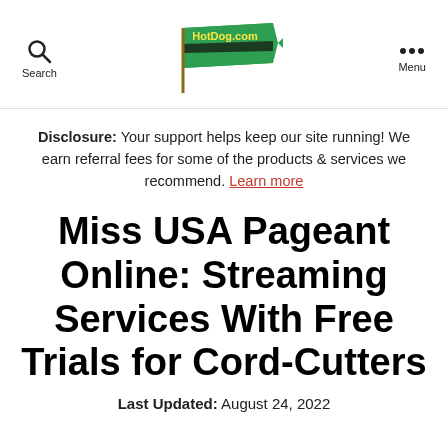Search | HotDog.com | Menu
Disclosure: Your support helps keep our site running! We earn referral fees for some of the products & services we recommend. Learn more
Miss USA Pageant Online: Streaming Services With Free Trials for Cord-Cutters
Last Updated: August 24, 2022